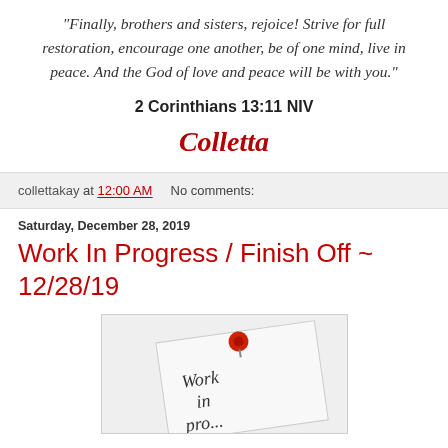"Finally, brothers and sisters, rejoice! Strive for full restoration, encourage one another, be of one mind, live in peace. And the God of love and peace will be with you."
2 Corinthians 13:11 NIV
Colletta
collettakay at 12:00 AM   No comments:
Saturday, December 28, 2019
Work In Progress / Finish Off ~ 12/28/19
[Figure (photo): A sticky note pinned with a red thumbtack showing handwritten text 'Work in progress']